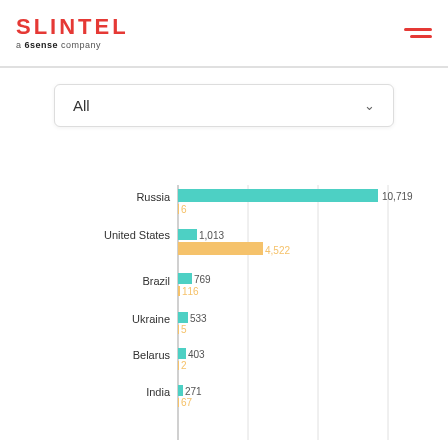SLINTEL a 6sense company
All
[Figure (bar-chart): Countries bar chart]